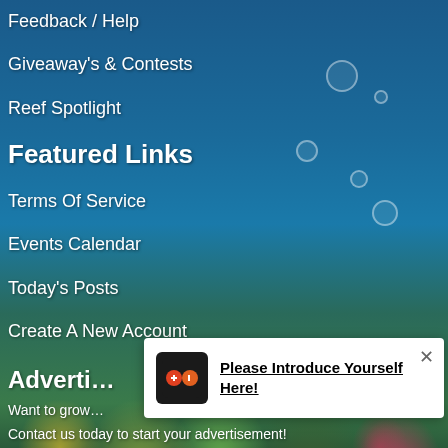Feedback / Help
Giveaway's & Contests
Reef Spotlight
Featured Links
Terms Of Service
Events Calendar
Today's Posts
Create A New Account
Adverti…
Want to grow…
Contact us today to start your advertisement!
[Figure (illustration): Underwater reef background with colorful corals, fish, and bubbles]
Please Introduce Yourself Here!